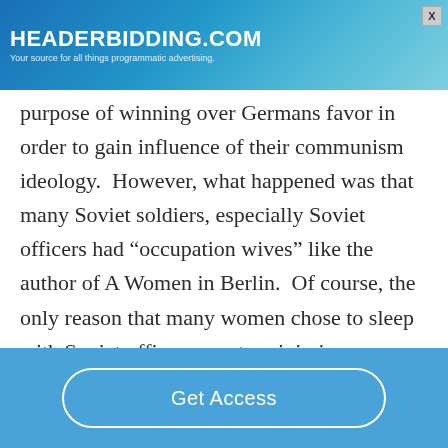[Figure (screenshot): Advertisement banner for HeaderBidding.com with blue gradient background, white text reading 'HEADERBIDDING.COM' and subtitle 'Your source for all things programmatic advertising.']
purpose of winning over Germans favor in order to gain influence of their communism ideology.  However, what happened was that many Soviet soldiers, especially Soviet officers had “occupation wives” like the author of A Women in Berlin.  Of course, the only reason that many women chose to sleep with Soviet officers was to minimize any
Get Access